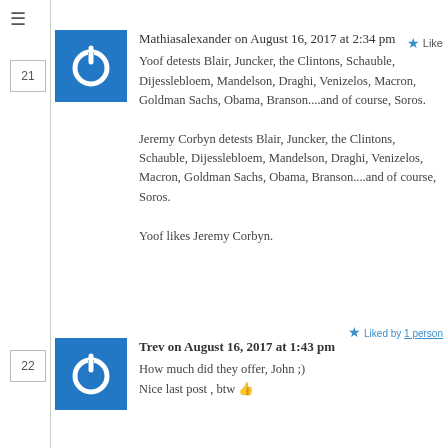Mathiasalexander on August 16, 2017 at 2:34 pm
Yoof detests Blair, Juncker, the Clintons, Schauble, Dijesslebloem, Mandelson, Draghi, Venizelos, Macron, Goldman Sachs, Obama, Branson....and of course, Soros.

Jeremy Corbyn detests Blair, Juncker, the Clintons, Schauble, Dijesslebloem, Mandelson, Draghi, Venizelos, Macron, Goldman Sachs, Obama, Branson....and of course, Soros.

Yoof likes Jeremy Corbyn.
Trev on August 16, 2017 at 1:43 pm
How much did they offer, John ;)
Nice last post , btw 👍